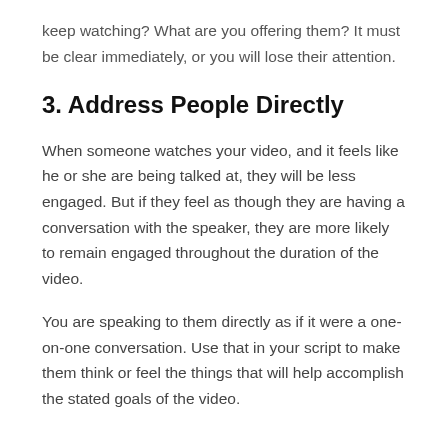keep watching? What are you offering them? It must be clear immediately, or you will lose their attention.
3. Address People Directly
When someone watches your video, and it feels like he or she are being talked at, they will be less engaged. But if they feel as though they are having a conversation with the speaker, they are more likely to remain engaged throughout the duration of the video.
You are speaking to them directly as if it were a one-on-one conversation. Use that in your script to make them think or feel the things that will help accomplish the stated goals of the video.